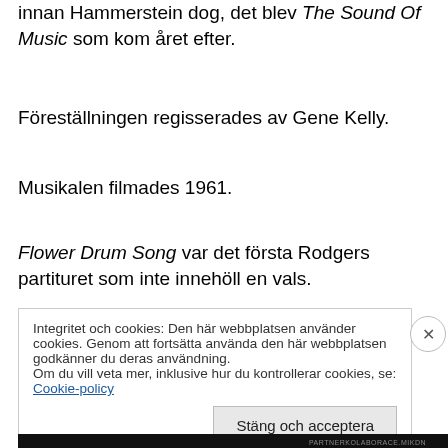innan Hammerstein dog, det blev The Sound Of Music som kom året efter.
Föreställningen regisserades av Gene Kelly.
Musikalen filmades 1961.
Flower Drum Song var det första Rodgers partituret som inte innehöll en vals.
Originaluppsättningen vann en Tony Award för bästa dirigent och den vann även en Theatre World Award.
Integritet och cookies: Den här webbplatsen använder cookies. Genom att fortsätta använda den här webbplatsen godkänner du deras användning.
Om du vill veta mer, inklusive hur du kontrollerar cookies, se: Cookie-policy
Stäng och acceptera